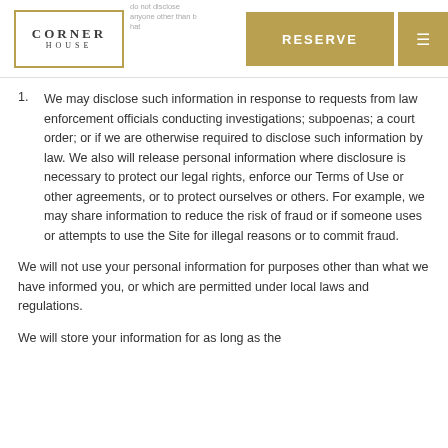CORNER HOUSE | RESERVE
We may disclose such information in response to requests from law enforcement officials conducting investigations; subpoenas; a court order; or if we are otherwise required to disclose such information by law. We also will release personal information where disclosure is necessary to protect our legal rights, enforce our Terms of Use or other agreements, or to protect ourselves or others. For example, we may share information to reduce the risk of fraud or if someone uses or attempts to use the Site for illegal reasons or to commit fraud.
We will not use your personal information for purposes other than what we have informed you, or which are permitted under local laws and regulations.
We will...